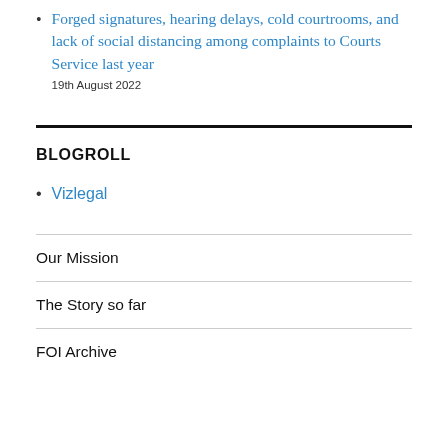Forged signatures, hearing delays, cold courtrooms, and lack of social distancing among complaints to Courts Service last year
19th August 2022
BLOGROLL
Vizlegal
Our Mission
The Story so far
FOI Archive